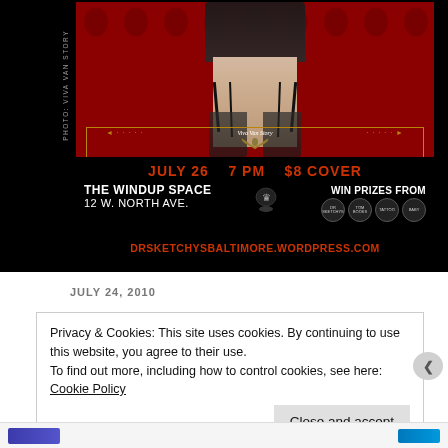[Figure (illustration): Event poster for Dr. Sketchy's Baltimore at The Windup Space. Black background with red damask wallpaper, model in lingerie. Text reads: JULY 26, 7 PM, $8 COVER, THE WINDUP SPACE, 12 W. NORTH AVE., WIN PRIZES FROM [sponsor logos], DRSKETCHYSBALTIMORE.WORDPRESS.COM. Photo credit: VIVA VAN STORY.]
JULY 24, 2010
Privacy & Cookies: This site uses cookies. By continuing to use this website, you agree to their use.
To find out more, including how to control cookies, see here: Cookie Policy
Close and accept